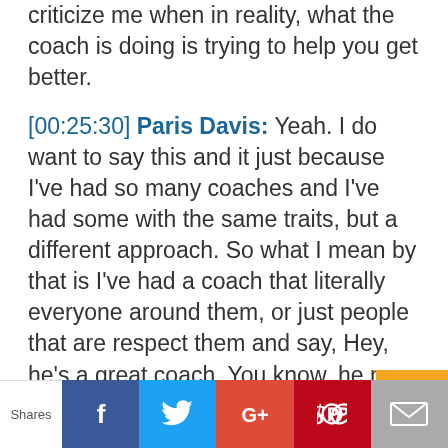criticize me when in reality, what the coach is doing is trying to help you get better.
[00:25:30] Paris Davis: Yeah. I do want to say this and it just because I've had so many coaches and I've had some with the same traits, but a different approach. So what I mean by that is I've had a coach that literally everyone around them, or just people that are respect them and say, Hey, he's a great coach. You know, he may yell at you, but he means well, and then when you actually talk to a coach and you actually hear him say, Hey, they give you the layout.
It's not they tell you up front how it's going to be, how their style is, how it's going t...
Shares | Facebook | Twitter | Google+ | Pinterest | Email